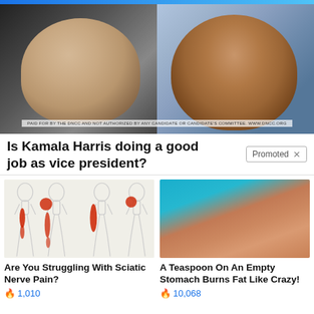[Figure (photo): Side-by-side photo of Joe Biden (left, older white man in dark suit smiling) and Kamala Harris (right, woman with brown hair smiling) against dark/blue background, with disclaimer text at bottom]
Is Kamala Harris doing a good job as vice president?
[Figure (photo): Medical illustration showing four human figures in profile with red highlighted areas indicating sciatic nerve pain running down the leg]
Are You Struggling With Sciatic Nerve Pain?
1,010
[Figure (photo): Close-up photo of a person's midsection/stomach area against teal background]
A Teaspoon On An Empty Stomach Burns Fat Like Crazy!
10,068